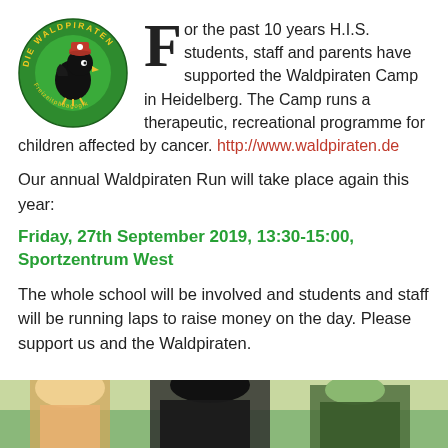[Figure (logo): Die Waldpiraten circular logo — green circle with yellow text 'DIE WALDPIRATEN' around the edge, featuring a stylized black bird wearing a red pirate hat in the center]
For the past 10 years H.I.S. students, staff and parents have supported the Waldpiraten Camp in Heidelberg. The Camp runs a therapeutic, recreational programme for children affected by cancer. http://www.waldpiraten.de
Our annual Waldpiraten Run will take place again this year:
Friday, 27th September 2019, 13:30-15:00, Sportzentrum West
The whole school will be involved and students and staff will be running laps to raise money on the day. Please support us and the Waldpiraten.
[Figure (photo): Photo strip at the bottom showing students outdoors, visible from roughly neck down]